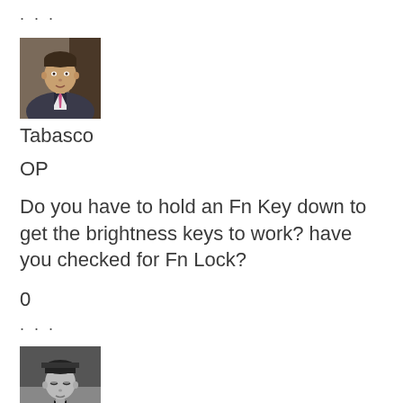· · ·
[Figure (photo): Profile photo of a man in a suit with a pink tie, color photo]
Tabasco
OP
Do you have to hold an Fn Key down to get the brightness keys to work? have you checked for Fn Lock?
0
· · ·
[Figure (photo): Profile photo of a person in black and white, looking down]
Anaheim